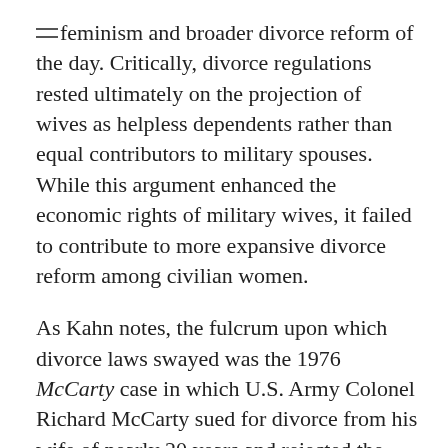feminism and broader divorce reform of the day. Critically, divorce regulations rested ultimately on the projection of wives as helpless dependents rather than equal contributors to military spouses. While this argument enhanced the economic rights of military wives, it failed to contribute to more expansive divorce reform among civilian women.
As Kahn notes, the fulcrum upon which divorce laws swayed was the 1976 McCarty case in which U.S. Army Colonel Richard McCarty sued for divorce from his wife of nearly 20 years and rejected the common property laws of California which demanded his benefits be divided equally with his wife. In community property states, assets would be divided equally, but benefits did not count as assets. In equitable distribution states, rather than split assets down the middle as is the case in community property cases, a judge intervenes to determine the